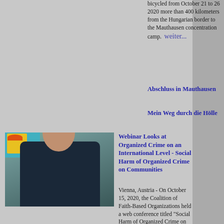bicycled from October 21 to 26 2020 more than 400 kilometers from the Hungarian border to the Mauthausen concentration camp. weiter...
Abschluss in Mauthausen
Mein Weg durch die Hölle
[Figure (photo): Man in dark shirt standing in front of a colorful rooster painting]
Webinar Looks at Organized Crime on an International Level - Social Harm of Organized Crime on Communities
Vienna, Austria - On October 15, 2020, the Coalition of Faith-Based Organizations held a web conference titled "Social Harm of Organized Crime on Communities." The conference had attendees from 22 countries. UPF is a founding partner and member of the Coalition. weiter...